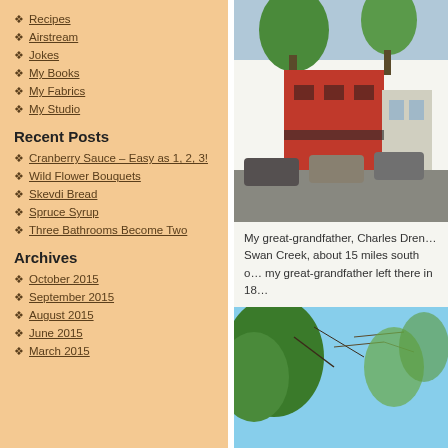Recipes
Airstream
Jokes
My Books
My Fabrics
My Studio
Recent Posts
Cranberry Sauce – Easy as 1, 2, 3!
Wild Flower Bouquets
Skevdi Bread
Spruce Syrup
Three Bathrooms Become Two
Archives
October 2015
September 2015
August 2015
June 2015
March 2015
[Figure (photo): Street scene with red brick building and trees]
My great-grandfather, Charles Dren... Swan Creek, about 15 miles south o... my great-grandfather left there in 18...
[Figure (photo): Trees and blue sky view from below]